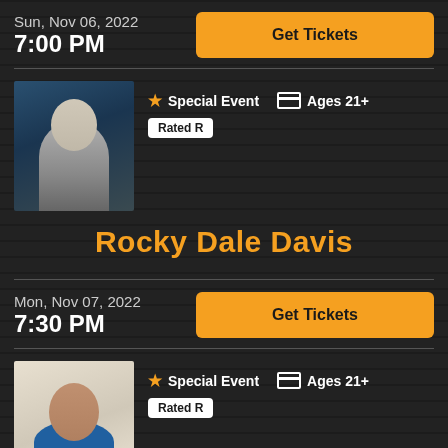Sun, Nov 06, 2022
7:00 PM
Get Tickets
[Figure (photo): Headshot of Rocky Dale Davis, a white male with short dark hair and light beard, against dark blue background]
★ Special Event   🎫 Ages 21+
Rated R
Rocky Dale Davis
Mon, Nov 07, 2022
7:30 PM
Get Tickets
[Figure (photo): Headshot of a South Asian male comedian wearing a blue shirt, against light background]
★ Special Event   🎫 Ages 21+
Rated R